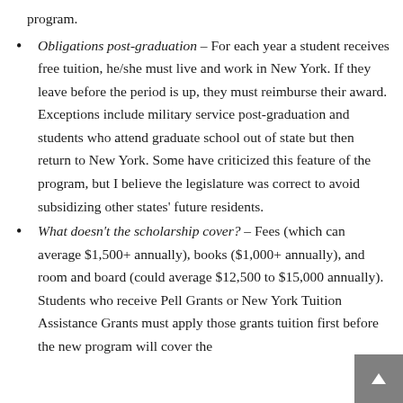program.
Obligations post-graduation – For each year a student receives free tuition, he/she must live and work in New York. If they leave before the period is up, they must reimburse their award. Exceptions include military service post-graduation and students who attend graduate school out of state but then return to New York. Some have criticized this feature of the program, but I believe the legislature was correct to avoid subsidizing other states' future residents.
What doesn't the scholarship cover? – Fees (which can average $1,500+ annually), books ($1,000+ annually), and room and board (could average $12,500 to $15,000 annually). Students who receive Pell Grants or New York Tuition Assistance Grants must apply those grants tuition first before the new program will cover the